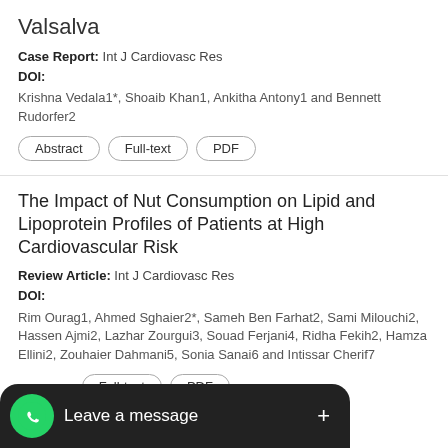Valsalva
Case Report: Int J Cardiovasc Res
DOI:
Krishna Vedala1*, Shoaib Khan1, Ankitha Antony1 and Bennett Rudorfer2
Abstract | Full-text | PDF
The Impact of Nut Consumption on Lipid and Lipoprotein Profiles of Patients at High Cardiovascular Risk
Review Article: Int J Cardiovasc Res
DOI:
Rim Ourag1, Ahmed Sghaier2*, Sameh Ben Farhat2, Sami Milouchi2, Hassen Ajmi2, Lazhar Zourgui3, Souad Ferjani4, Ridha Fekih2, Hamza Ellini2, Zouhaier Dahmani5, Sonia Sanai6 and Intissar Cherif7
Abstract | Full-text | PDF
Car... from 145 cases at